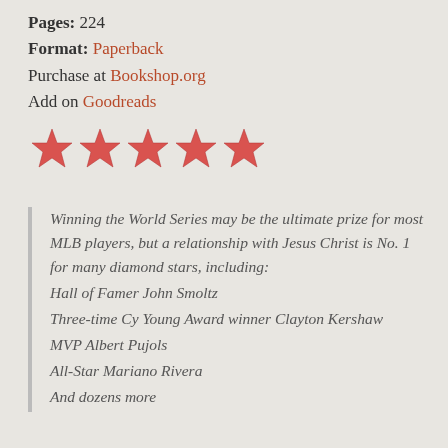Pages: 224
Format: Paperback
Purchase at Bookshop.org
Add on Goodreads
[Figure (illustration): Five red star rating icons in a row]
Winning the World Series may be the ultimate prize for most MLB players, but a relationship with Jesus Christ is No. 1 for many diamond stars, including: Hall of Famer John Smoltz Three-time Cy Young Award winner Clayton Kershaw MVP Albert Pujols All-Star Mariano Rivera And dozens more